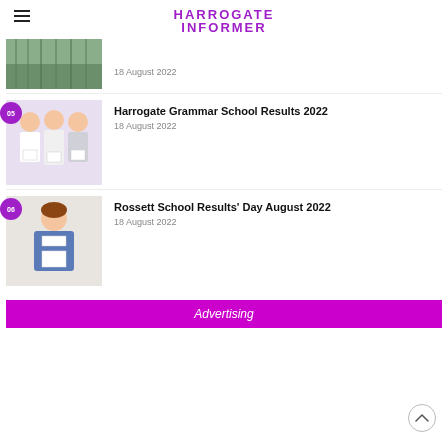HARROGATE INFORMER
[Figure (photo): Thumbnail photo of a natural scene (top article image, partially visible)]
18 August 2022
Harrogate Grammar School Results 2022
18 August 2022
[Figure (photo): Three students smiling and holding results envelopes]
Rossett School Results' Day August 2022
18 August 2022
[Figure (photo): Female student holding results envelope, smiling]
Advertising